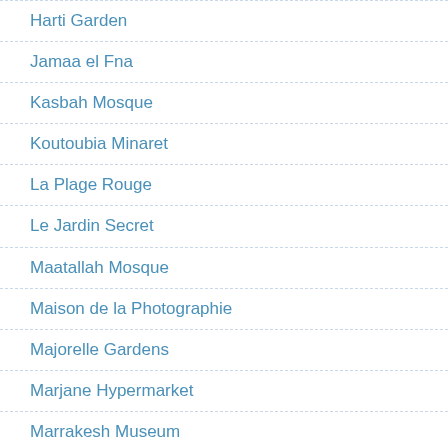Harti Garden
Jamaa el Fna
Kasbah Mosque
Koutoubia Minaret
La Plage Rouge
Le Jardin Secret
Maatallah Mosque
Maison de la Photographie
Majorelle Gardens
Marjane Hypermarket
Marrakesh Museum
Medersa Ben Youssef